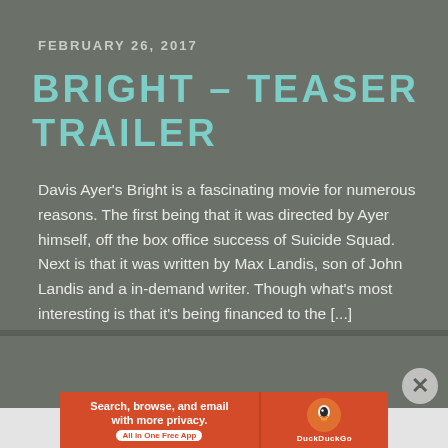FEBRUARY 26, 2017
BRIGHT – TEASER TRAILER
Davis Ayer's Bright is a fascinating movie for numerous reasons. The first being that it was directed by Ayer himself, off the box office success of Suicide Squad. Next is that it was written by Max Landis, son of John Landis and a in-demand writer. Though what's most interesting is that it's being financed to the [...]
[Figure (other): DuckDuckGo advertisement banner: orange background with text 'Search, browse, and email with more privacy. All in One Free App' and DuckDuckGo duck logo on the right side]